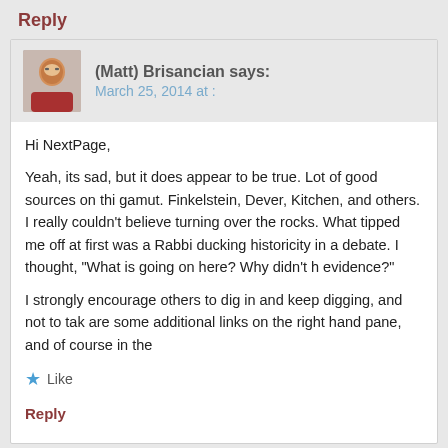Reply
(Matt) Brisancian says:
March 25, 2014 at :
[Figure (photo): Avatar photo of Matt Brisancian, a man with glasses wearing a red shirt]
Hi NextPage,

Yeah, its sad, but it does appear to be true. Lot of good sources on thi gamut. Finkelstein, Dever, Kitchen, and others. I really couldn't believe turning over the rocks. What tipped me off at first was a Rabbi ducking historicity in a debate. I thought, "What is going on here? Why didn't h evidence?"

I strongly encourage others to dig in and keep digging, and not to tak are some additional links on the right hand pane, and of course in the
Like
Reply
Arkenaten says:
April 27, 2014 at :
[Figure (photo): Avatar photo of Arkenaten showing an ancient Egyptian-style image]